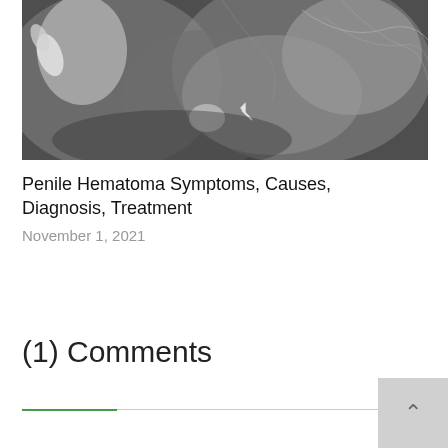[Figure (photo): Grayscale X-ray image showing anatomical structures, with a white arrow pointing to a region of interest in the lower-center area of the image.]
Penile Hematoma Symptoms, Causes, Diagnosis, Treatment
November 1, 2021
(1) Comments